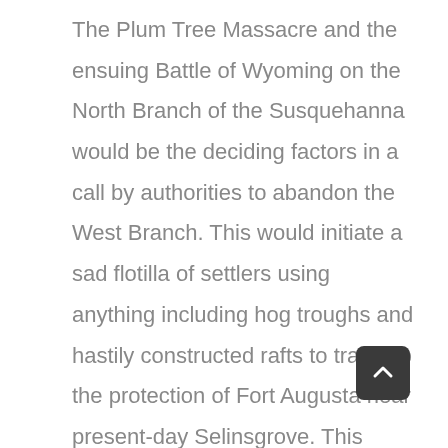The Plum Tree Massacre and the ensuing Battle of Wyoming on the North Branch of the Susquehanna would be the deciding factors in a call by authorities to abandon the West Branch. This would initiate a sad flotilla of settlers using anything including hog troughs and hastily constructed rafts to travel to the protection of Fort Augusta near present-day Selinsgrove. This panicked exodus would become known as the Big Runaway.

Settlers would try to come back to harvest crops and resettle for the remainder of the war. They faced serious danger from Indian and Loyalist